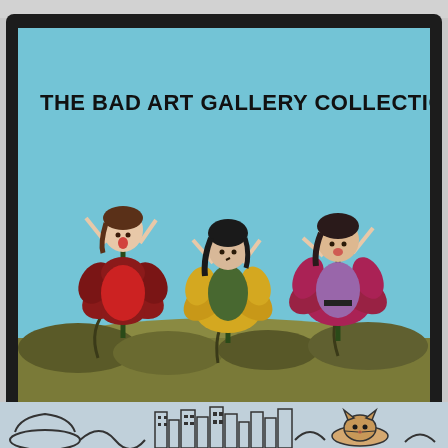[Figure (illustration): Cover image of 'The Bad Art Gallery Collection' showing a naïve-style painting of three female figures emerging from large flowers (red, yellow, and pink/purple) against a light blue textured background with a grassy ground. Text overlay reads 'THE BAD ART GALLERY COLLECTION'. The image is framed in a thick black border resembling a TV screen. Below the main image is a small strip with doodle-style cityscape drawings.]